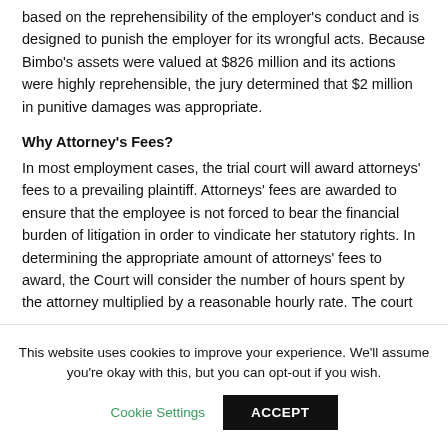based on the reprehensibility of the employer's conduct and is designed to punish the employer for its wrongful acts. Because Bimbo's assets were valued at $826 million and its actions were highly reprehensible, the jury determined that $2 million in punitive damages was appropriate.
Why Attorney's Fees?
In most employment cases, the trial court will award attorneys' fees to a prevailing plaintiff. Attorneys' fees are awarded to ensure that the employee is not forced to bear the financial burden of litigation in order to vindicate her statutory rights. In determining the appropriate amount of attorneys' fees to award, the Court will consider the number of hours spent by the attorney multiplied by a reasonable hourly rate. The court
This website uses cookies to improve your experience. We'll assume you're okay with this, but you can opt-out if you wish.